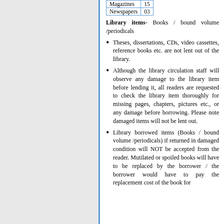| Magazines | 15 |
| Newspapers | 03 |
Library items- Books / bound volume /periodicals
Theses, dissertations, CDs, video cassettes, reference books etc. are not lent out of the library.
Although the library circulation staff will observe any damage to the library item before lending it, all readers are requested to check the library item thoroughly for missing pages, chapters, pictures etc., or any damage before borrowing. Please note damaged items will not be lent out.
Library borrowed items (Books / bound volume /periodicals) if returned in damaged condition will NOT be accepted from the reader. Mutilated or spoiled books will have to be replaced by the borrower / the borrower would have to pay the replacement cost of the book for